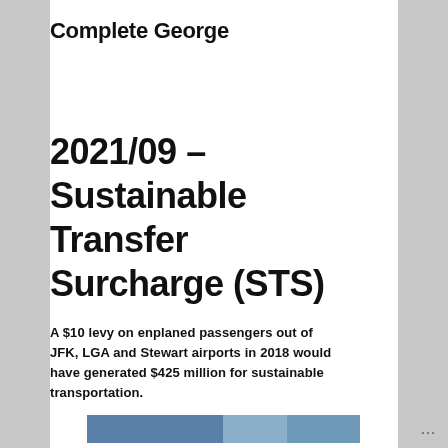Complete George
2021/09 – Sustainable Transfer Surcharge (STS)
A $10 levy on enplaned passengers out of JFK, LGA and Stewart airports in 2018 would have generated $425 million for sustainable transportation.
[Figure (photo): Partial image strip visible at bottom of page, showing a blue/teal colored photograph.]